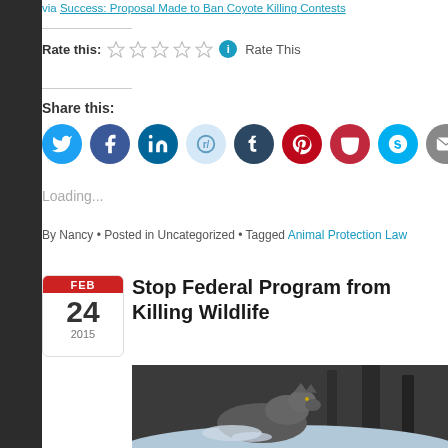via Success: Proposal Made to Ban Coyote Killing Contests
Rate this: ☆☆☆☆☆ Rate This
Share this:
[Figure (infographic): Row of share icons: Twitter (cyan), Facebook (blue), LinkedIn (dark blue), Reddit (light blue), Tumblr (dark navy), Pinterest (red), Pocket (dark red), Skype (cyan), Email (gray), Print (gray)]
Loading...
By Nancy • Posted in Uncategorized • Tagged Animal Protection Law
Stop Federal Program from Killing Wildlife
[Figure (photo): Wolf running through snow in a forest]